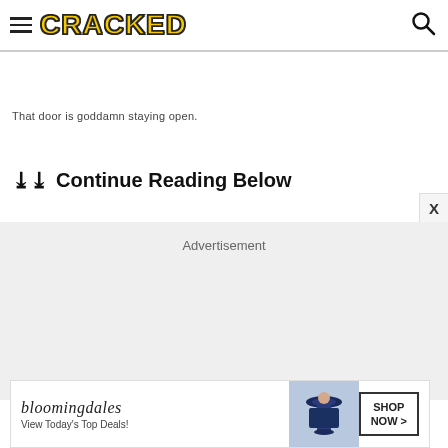CRACKED
That door is goddamn staying open.
Continue Reading Below
[Figure (other): Advertisement placeholder box with light gray background]
[Figure (other): Bloomingdale's advertisement banner: logo, tagline 'View Today's Top Deals!', woman in hat, SHOP NOW button]